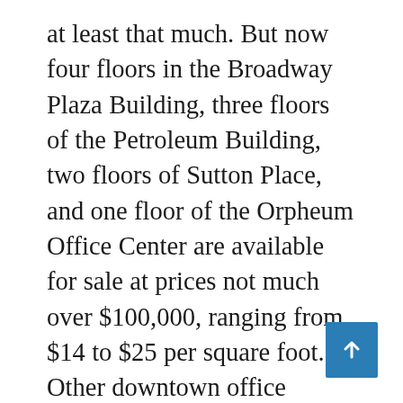at least that much. But now four floors in the Broadway Plaza Building, three floors of the Petroleum Building, two floors of Sutton Place, and one floor of the Orpheum Office Center are available for sale at prices not much over $100,000, ranging from $14 to $25 per square foot. Other downtown office buildings — very plain properties — are listed at much higher prices. For example, one downtown property is listed at $82 per square foot.… Some of these floors have had declining appraisals. According to the Sedgwick County Treasurer, the fifth floor of Sutton Place, which is listed for sale at $135,000, was appraised in 2008 for $530,900. In 2009 the appraised value dropped to